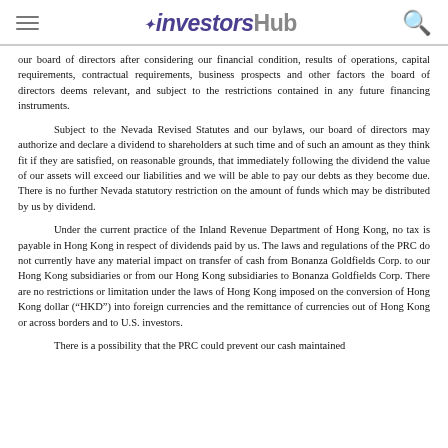investorsHub
our board of directors after considering our financial condition, results of operations, capital requirements, contractual requirements, business prospects and other factors the board of directors deems relevant, and subject to the restrictions contained in any future financing instruments.
Subject to the Nevada Revised Statutes and our bylaws, our board of directors may authorize and declare a dividend to shareholders at such time and of such an amount as they think fit if they are satisfied, on reasonable grounds, that immediately following the dividend the value of our assets will exceed our liabilities and we will be able to pay our debts as they become due. There is no further Nevada statutory restriction on the amount of funds which may be distributed by us by dividend.
Under the current practice of the Inland Revenue Department of Hong Kong, no tax is payable in Hong Kong in respect of dividends paid by us. The laws and regulations of the PRC do not currently have any material impact on transfer of cash from Bonanza Goldfields Corp. to our Hong Kong subsidiaries or from our Hong Kong subsidiaries to Bonanza Goldfields Corp. There are no restrictions or limitation under the laws of Hong Kong imposed on the conversion of Hong Kong dollar (“HKD”) into foreign currencies and the remittance of currencies out of Hong Kong or across borders and to U.S. investors.
There is a possibility that the PRC could prevent our cash maintained